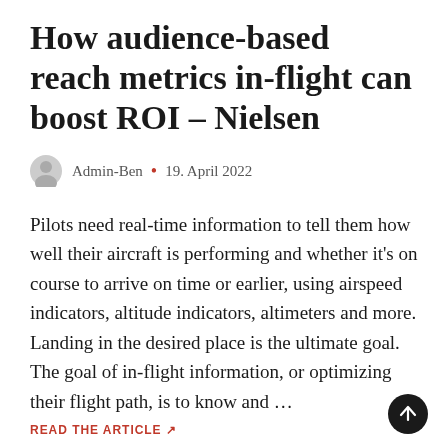How audience-based reach metrics in-flight can boost ROI – Nielsen
Admin-Ben • 19. April 2022
Pilots need real-time information to tell them how well their aircraft is performing and whether it's on course to arrive on time or earlier, using airspeed indicators, altitude indicators, altimeters and more. Landing in the desired place is the ultimate goal. The goal of in-flight information, or optimizing their flight path, is to know and …
READ THE ARTICLE ↗